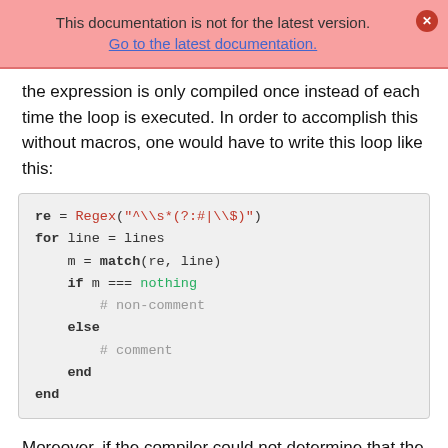This documentation is not for the latest version. Go to the latest documentation.
the expression is only compiled once instead of each time the loop is executed. In order to accomplish this without macros, one would have to write this loop like this:
re = Regex("^\\s*(?:#|\\$)")
for line = lines
    m = match(re, line)
    if m === nothing
        # non-comment
    else
        # comment
    end
end
Moreover, if the compiler could not determine that the regex object was constant over all loops, certain optimizations might not be possible, making this version